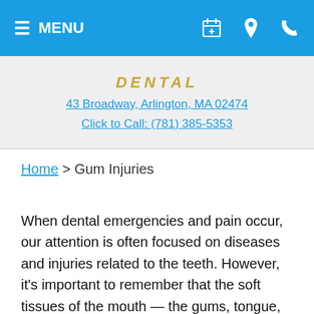MENU
43 Broadway, Arlington, MA 02474
Click to Call: (781) 385-5353
Home > Gum Injuries
When dental emergencies and pain occur, our attention is often focused on diseases and injuries related to the teeth. However, it's important to remember that the soft tissues of the mouth — the gums, tongue, lips and cheek lining — may also be affected. While they are tough enough to stand